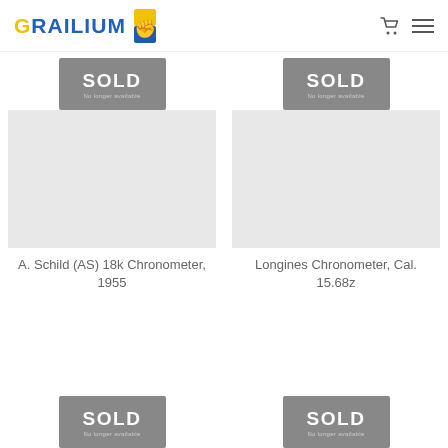GRAILIUM
[Figure (screenshot): SOLD badge - No longer available, gray background, first product column top row]
[Figure (screenshot): SOLD badge - No longer available, gray background, second product column top row]
[Figure (photo): Product image area for A. Schild (AS) 18k Chronometer, 1955 - gray placeholder]
[Figure (photo): Product image area for Longines Chronometer, Cal. 15.68z - gray placeholder]
A. Schild (AS) 18k Chronometer, 1955
Longines Chronometer, Cal. 15.68z
[Figure (screenshot): SOLD badge - No longer available, gray background, first product column bottom row]
[Figure (screenshot): SOLD badge - No longer available, gray background, second product column bottom row]